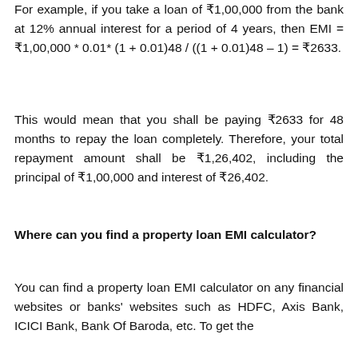For example, if you take a loan of ₹1,00,000 from the bank at 12% annual interest for a period of 4 years, then EMI = ₹1,00,000 * 0.01* (1 + 0.01)48 / ((1 + 0.01)48 – 1) = ₹2633.
This would mean that you shall be paying ₹2633 for 48 months to repay the loan completely. Therefore, your total repayment amount shall be ₹1,26,402, including the principal of ₹1,00,000 and interest of ₹26,402.
Where can you find a property loan EMI calculator?
You can find a property loan EMI calculator on any financial websites or banks' websites such as HDFC, Axis Bank, ICICI Bank, Bank Of Baroda, etc. To get the